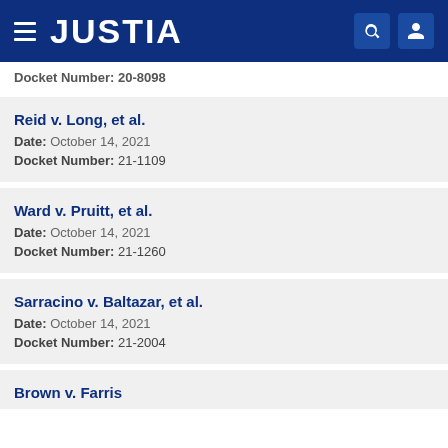JUSTIA
Docket Number: 20-8098
Reid v. Long, et al.
Date: October 14, 2021
Docket Number: 21-1109
Ward v. Pruitt, et al.
Date: October 14, 2021
Docket Number: 21-1260
Sarracino v. Baltazar, et al.
Date: October 14, 2021
Docket Number: 21-2004
Brown v. Farris